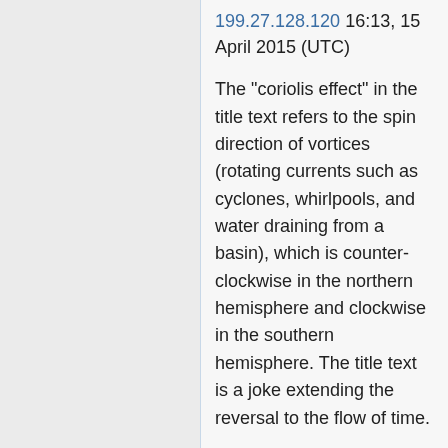199.27.128.120 16:13, 15 April 2015 (UTC)
The "coriolis effect" in the title text refers to the spin direction of vortices (rotating currents such as cyclones, whirlpools, and water draining from a basin), which is counter-clockwise in the northern hemisphere and clockwise in the southern hemisphere. The title text is a joke extending the reversal to the flow of time.
The spin direction of whirlpools and basins is 'not' determined by the coriolis effect, on this scale its impact is way too small to make a difference. The